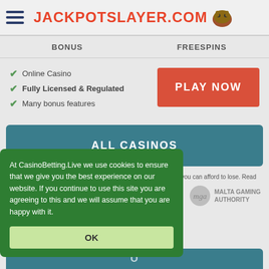JACKPOTSLAYER.COM
BONUS    FREESPINS
Online Casino
Fully Licensed & Regulated
Many bonus features
PLAY NOW
ALL CASINOS
18+ | T&C's Apply | Gamble Responsibly and only bet money that you can afford to lose. Read
At CasinoBetting.Live we use cookies to ensure that we give you the best experience on our website. If you continue to use this site you are agreeing to this and we will assume that you are happy with it.
OK
[Figure (logo): Malta Gaming Authority logo with 'mga' text]